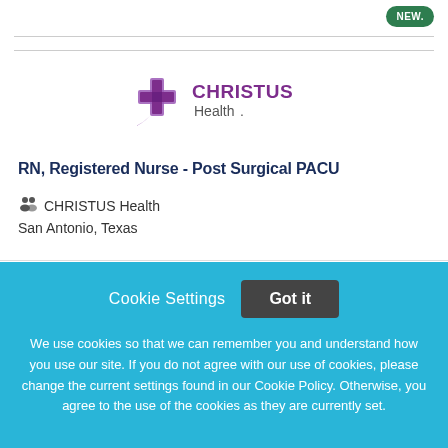[Figure (logo): CHRISTUS Health logo with purple cross and stylized text]
RN, Registered Nurse - Post Surgical PACU
CHRISTUS Health
San Antonio, Texas
Cookie Settings  Got it
We use cookies so that we can remember you and understand how you use our site. If you do not agree with our use of cookies, please change the current settings found in our Cookie Policy. Otherwise, you agree to the use of the cookies as they are currently set.